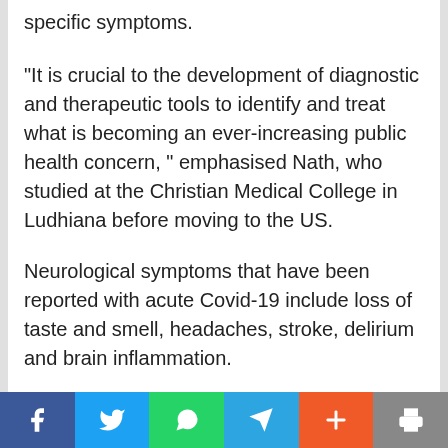specific symptoms.
"It is crucial to the development of diagnostic and therapeutic tools to identify and treat what is becoming an ever-increasing public health concern, " emphasised Nath, who studied at the Christian Medical College in Ludhiana before moving to the US.
Neurological symptoms that have been reported with acute Covid-19 include loss of taste and smell, headaches, stroke, delirium and brain inflammation.
"There does not seem to be extensive infection of brain cells by the virus, but the neurological